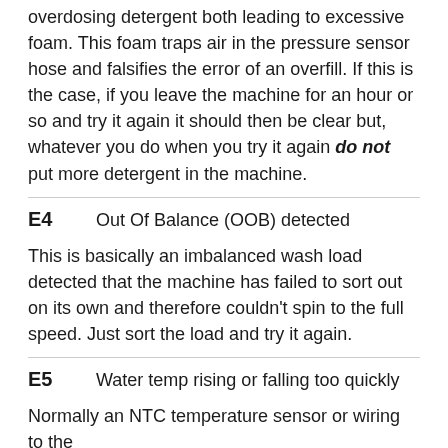overdosing detergent both leading to excessive foam. This foam traps air in the pressure sensor hose and falsifies the error of an overfill. If this is the case, if you leave the machine for an hour or so and try it again it should then be clear but, whatever you do when you try it again do not put more detergent in the machine.
E4   Out Of Balance (OOB) detected
This is basically an imbalanced wash load detected that the machine has failed to sort out on its own and therefore couldn't spin to the full speed. Just sort the load and try it again.
E5   Water temp rising or falling too quickly
Normally an NTC temperature sensor or wiring to the sensor that's faulty.